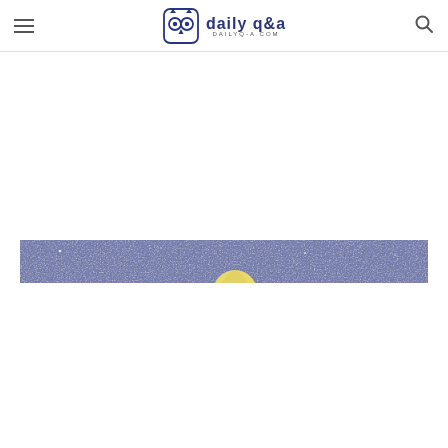daily q&a — DAILYQ-A.COM
[Figure (illustration): A wide banner illustration showing a night sky with a speckled blue-grey starry background and a yellow moon rising from the bottom center of the image.]